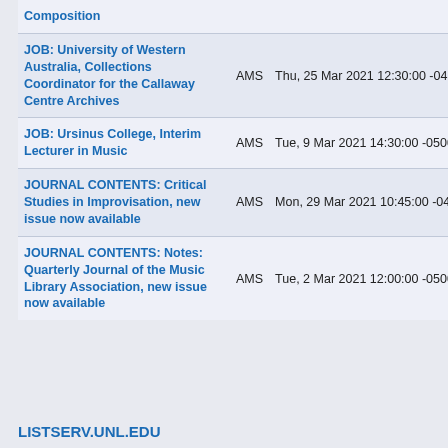| Subject | List | Date | Lines |
| --- | --- | --- | --- |
| Composition |  |  |  |
| JOB: University of Western Australia, Collections Coordinator for the Callaway Centre Archives | AMS | Thu, 25 Mar 2021 12:30:00 -0400 | 151 lines |
| JOB: Ursinus College, Interim Lecturer in Music | AMS | Tue, 9 Mar 2021 14:30:00 -0500 | 116 lines |
| JOURNAL CONTENTS: Critical Studies in Improvisation, new issue now available | AMS | Mon, 29 Mar 2021 10:45:00 -0400 | 177 lines |
| JOURNAL CONTENTS: Notes: Quarterly Journal of the Music Library Association, new issue now available | AMS | Tue, 2 Mar 2021 12:00:00 -0500 | 183 lines |
LISTSERV.UNL.EDU